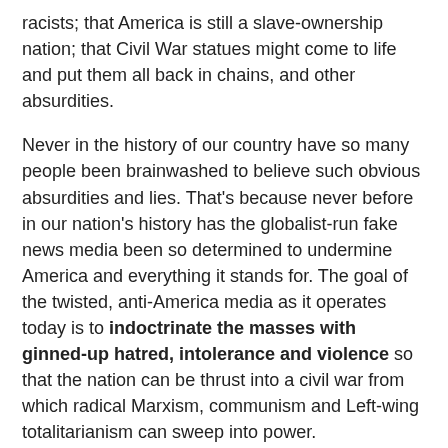racists; that America is still a slave-ownership nation; that Civil War statues might come to life and put them all back in chains, and other absurdities.
Never in the history of our country have so many people been brainwashed to believe such obvious absurdities and lies. That's because never before in our nation's history has the globalist-run fake news media been so determined to undermine America and everything it stands for. The goal of the twisted, anti-America media as it operates today is to indoctrinate the masses with ginned-up hatred, intolerance and violence so that the nation can be thrust into a civil war from which radical Marxism, communism and Left-wing totalitarianism can sweep into power.
Mass hypnosis generates two kinds of hallucinations